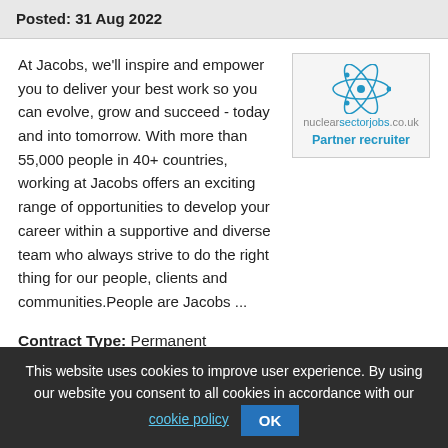Posted: 31 Aug 2022
At Jacobs, we'll inspire and empower you to deliver your best work so you can evolve, grow and succeed - today and into tomorrow. With more than 55,000 people in 40+ countries, working at Jacobs offers an exciting range of opportunities to develop your career within a supportive and diverse team who always strive to do the right thing for our people, clients and communities.People are Jacobs ...
[Figure (logo): nuclearsectorjobs.co.uk Partner recruiter logo with atom icon]
Contract Type: Permanent
Location: Morecambe, Lancashire
This website uses cookies to improve user experience. By using our website you consent to all cookies in accordance with our cookie policy OK